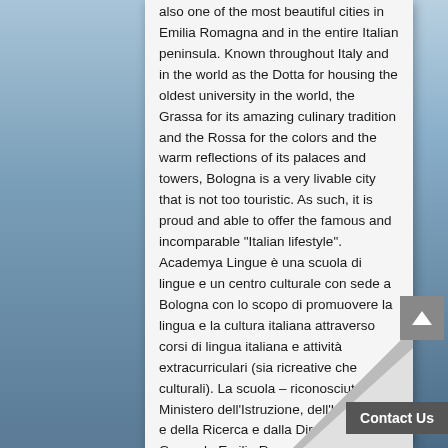also one of the most beautiful cities in Emilia Romagna and in the entire Italian peninsula. Known throughout Italy and in the world as the Dotta for housing the oldest university in the world, the Grassa for its amazing culinary tradition and the Rossa for the colors and the warm reflections of its palaces and towers, Bologna is a very livable city that is not too touristic. As such, it is proud and able to offer the famous and incomparable "Italian lifestyle". Academya Lingue è una scuola di lingue e un centro culturale con sede a Bologna con lo scopo di promuovere la lingua e la cultura italiana attraverso corsi di lingua italiana e attività extracurriculari (sia ricreative che culturali). La scuola – riconosciuta dal Ministero dell'Istruzione, dell'Università e della Ricerca e dalla Direzione Generale Emilia Romagna e scelta anche dall'Alma Mater Studiorum Università di Bologna (BBS) come Scuola di Lingue nel suo International C... MBA Program e International Master